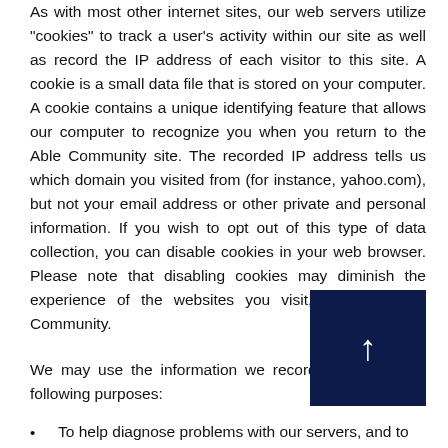As with most other internet sites, our web servers utilize “cookies” to track a user’s activity within our site as well as record the IP address of each visitor to this site. A cookie is a small data file that is stored on your computer. A cookie contains a unique identifying feature that allows our computer to recognize you when you return to the Able Community site. The recorded IP address tells us which domain you visited from (for instance, yahoo.com), but not your email address or other private and personal information. If you wish to opt out of this type of data collection, you can disable cookies in your web browser. Please note that disabling cookies may diminish the experience of the websites you visit, including Able Community.
We may use the information we record for any of the following purposes:
To help diagnose problems with our servers, and to